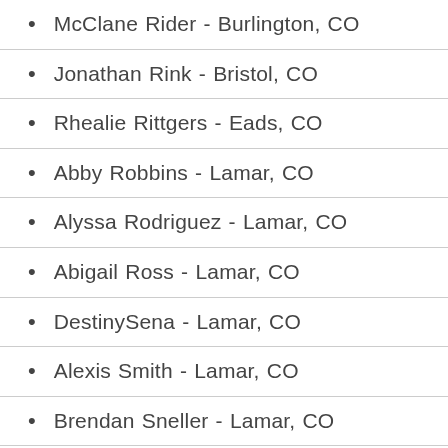McClane Rider - Burlington, CO
Jonathan Rink - Bristol, CO
Rhealie Rittgers - Eads, CO
Abby Robbins - Lamar, CO
Alyssa Rodriguez - Lamar, CO
Abigail Ross - Lamar, CO
DestinySena - Lamar, CO
Alexis Smith - Lamar, CO
Brendan Sneller - Lamar, CO